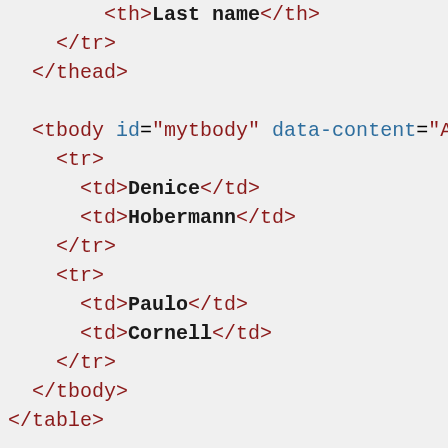HTML code snippet showing table body with data rows for Denice Hobermann and Paulo Cornell, followed by a br tag and button element with onclick toggle function